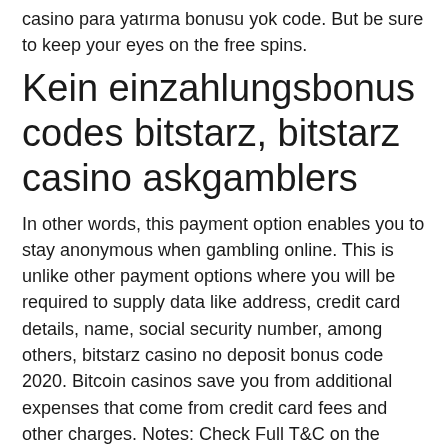casino para yatırma bonusu yok code. But be sure to keep your eyes on the free spins.
Kein einzahlungsbonus codes bitstarz, bitstarz casino askgamblers
In other words, this payment option enables you to stay anonymous when gambling online. This is unlike other payment options where you will be required to supply data like address, credit card details, name, social security number, among others, bitstarz casino no deposit bonus code 2020. Bitcoin casinos save you from additional expenses that come from credit card fees and other charges. Notes: Check Full T&C on the website before claiming, bitstarz casino no deposit bonus code 2020. There is